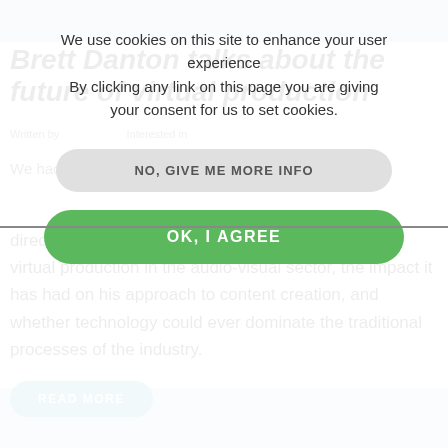[Figure (screenshot): Cookie consent overlay modal on a webpage. Background shows partial article about Brett Danton and virtual production. Overlay contains cookie notice text, a grey 'NO, GIVE ME MORE INFO' button, and a green 'OK, I AGREE' button.]
We use cookies on this site to enhance your user experience
By clicking any link on this page you are giving your consent for us to set cookies.
NO, GIVE ME MORE INFO
OK, I AGREE
Brett Danton talks about the future of virtual production
director Brett Danton about his views on the rise of virtual production in the audio-visual sector, the impact it has had on his approach to content creation, and whether technology could ever dominate the traditional processes of the industry.
READ MORE